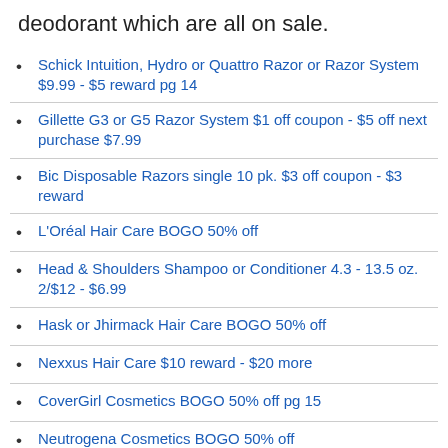deodorant which are all on sale.
Schick Intuition, Hydro or Quattro Razor or Razor System $9.99 - $5 reward pg 14
Gillette G3 or G5 Razor System $1 off coupon - $5 off next purchase $7.99
Bic Disposable Razors single 10 pk. $3 off coupon - $3 reward
L'Oréal Hair Care BOGO 50% off
Head & Shoulders Shampoo or Conditioner 4.3 - 13.5 oz. 2/$12 - $6.99
Hask or Jhirmack Hair Care BOGO 50% off
Nexxus Hair Care $10 reward - $20 more
CoverGirl Cosmetics BOGO 50% off pg 15
Neutrogena Cosmetics BOGO 50% off
Skin Care - cleansers, creams and more - Buy 2 Get